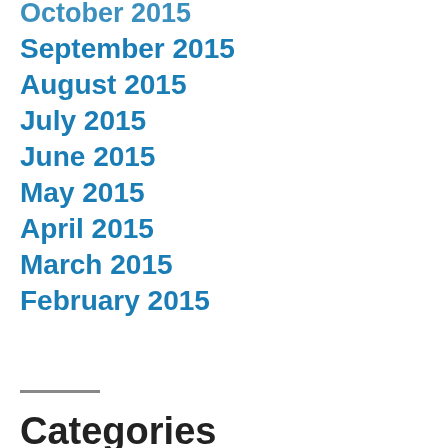October 2015
September 2015
August 2015
July 2015
June 2015
May 2015
April 2015
March 2015
February 2015
Categories